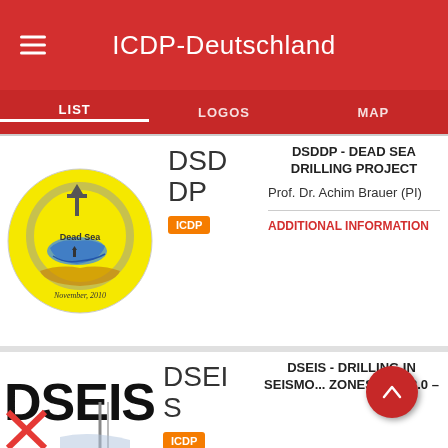ICDP-Deutschland
LIST
LOGOS
MAP
[Figure (logo): Dead Sea Drilling Project circular logo with yellow background, showing Dead Sea map in blue, drilling rig, and text 'Dead Sea' and 'November, 2010']
DSD DP
ICDP
DSDDP - DEAD SEA DRILLING PROJECT
Prof. Dr. Achim Brauer (PI)
ADDITIONAL INFORMATION
[Figure (logo): DSEIS logo with bold black text 'DSEIS' on white background with a drilling/seismic graphic]
DSEI S
ICDP
DSEIS - DRILLING IN SEISMO... ZONES OF M2.0 –